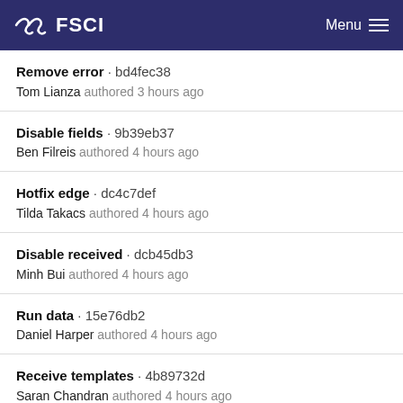FSCI  Menu
Remove error · bd4fec38
Tom Lianza authored 3 hours ago
Disable fields · 9b39eb37
Ben Filreis authored 4 hours ago
Hotfix edge · dc4c7def
Tilda Takacs authored 4 hours ago
Disable received · dcb45db3
Minh Bui authored 4 hours ago
Run data · 15e76db2
Daniel Harper authored 4 hours ago
Receive templates · 4b89732d
Saran Chandran authored 4 hours ago
Correct quote · 443d125a